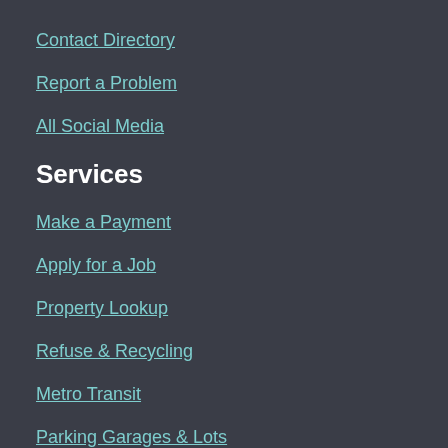Contact Directory
Report a Problem
All Social Media
Services
Make a Payment
Apply for a Job
Property Lookup
Refuse & Recycling
Metro Transit
Parking Garages & Lots
City Hall
Mayor's Office
Common Council